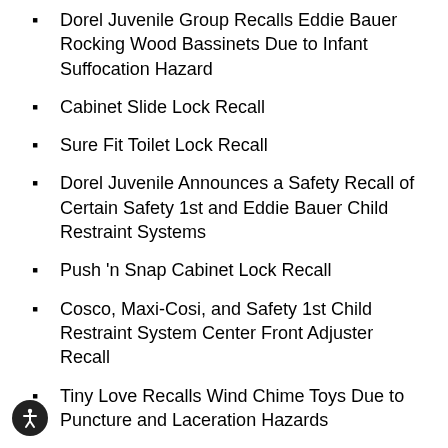Dorel Juvenile Group Recalls Eddie Bauer Rocking Wood Bassinets Due to Infant Suffocation Hazard
Cabinet Slide Lock Recall
Sure Fit Toilet Lock Recall
Dorel Juvenile Announces a Safety Recall of Certain Safety 1st and Eddie Bauer Child Restraint Systems
Push 'n Snap Cabinet Lock Recall
Cosco, Maxi-Cosi, and Safety 1st Child Restraint System Center Front Adjuster Recall
Tiny Love Recalls Wind Chime Toys Due to Puncture and Laceration Hazards
Dorel Juvenile Group Recalls Play Yards with Bassinets Due to Suffocation Hazard